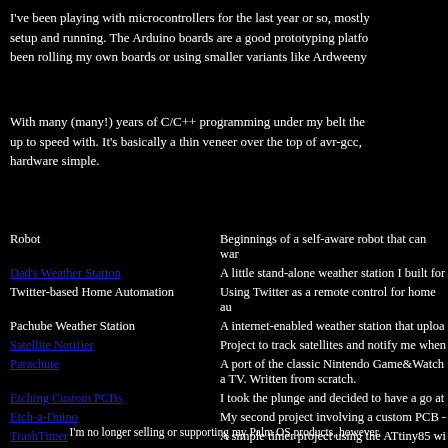I've been playing with microcontrollers for the last year or so, mostly setup and running. The Arduino boards are a good prototyping platfo been rolling my own boards or using smaller variants like Ardweeny
With many (many!) years of C/C++ programming under my belt the up to speed with. It's basically a thin veneer over the top of avr-gcc, hardware simple.
Robot | Beginnings of a self-aware robot that can war
Dad's Weather Station | A little stand-alone weather station I built for
Twitter-based Home Automation | Using Twitter as a remote control for home au
Pachube Weather Station | A internet-enabled weather station that uploa
Satellite Notifier | Project to track satellites and notify me when
Parachute | A port of the classic Nintendo Game&Watch a TV. Written from scratch.
Etching Custom PCBs | I took the plunge and decided to have a go at
Etch-a-Duino | My second project involving a custom PCB -
TrashTimer | A simple timer project using the ATtiny85 wi
I'm no longer selling or supporting my Palm OS products, however